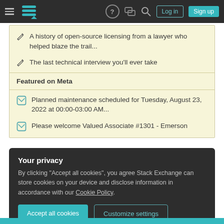Stack Exchange navigation bar with hamburger menu, logo, help, chat, search icons, Log in and Sign up buttons
A history of open-source licensing from a lawyer who helped blaze the trail...
The last technical interview you'll ever take
Featured on Meta
Planned maintenance scheduled for Tuesday, August 23, 2022 at 00:00-03:00 AM...
Please welcome Valued Associate #1301 - Emerson
Your privacy
By clicking "Accept all cookies", you agree Stack Exchange can store cookies on your device and disclose information in accordance with our Cookie Policy.
Accept all cookies | Customize settings